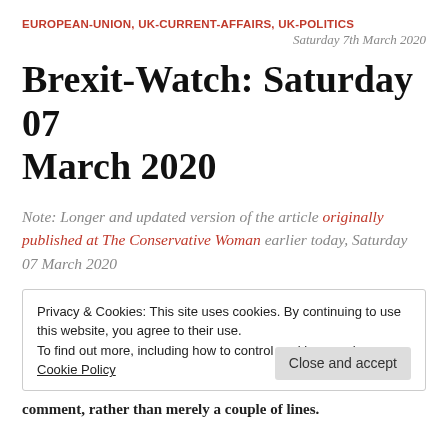EUROPEAN-UNION, UK-CURRENT-AFFAIRS, UK-POLITICS
Saturday 7th March 2020
Brexit-Watch: Saturday 07 March 2020
Note: Longer and updated version of the article originally published at The Conservative Woman earlier today, Saturday 07 March 2020
Privacy & Cookies: This site uses cookies. By continuing to use this website, you agree to their use.
To find out more, including how to control cookies, see here: Cookie Policy
Close and accept
comment, rather than merely a couple of lines.